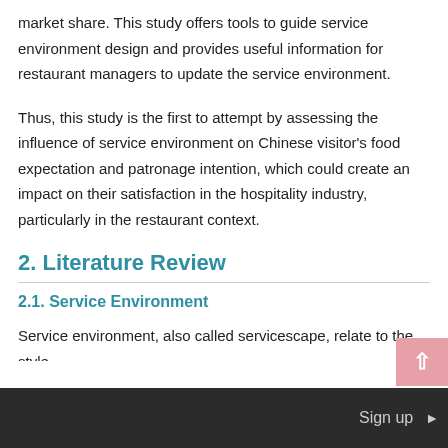market share. This study offers tools to guide service environment design and provides useful information for restaurant managers to update the service environment.
Thus, this study is the first to attempt by assessing the influence of service environment on Chinese visitor's food expectation and patronage intention, which could create an impact on their satisfaction in the hospitality industry, particularly in the restaurant context.
2. Literature Review
2.1. Service Environment
Service environment, also called servicescape, relate to the style
Sign up ▶